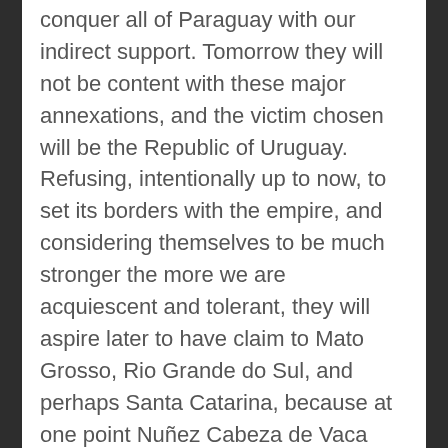conquer all of Paraguay with our indirect support. Tomorrow they will not be content with these major annexations, and the victim chosen will be the Republic of Uruguay. Refusing, intentionally up to now, to set its borders with the empire, and considering themselves to be much stronger the more we are acquiescent and tolerant, they will aspire later to have claim to Mato Grosso, Rio Grande do Sul, and perhaps Santa Catarina, because at one point Nuñez Cabeza de Vaca disembarked on this island … We have been the most ardent apostles of peace, but we are beginning to feel the conviction that in the end it will be incompatible with dignity, having a neighbor who stirs up alliances against the empire, and who, despite its disorganization, does not cease to provoke conflicts over border disputes of American powers, which it calls dear brothers, such as Chile, Bolivia, and poor Paraguay. It seems